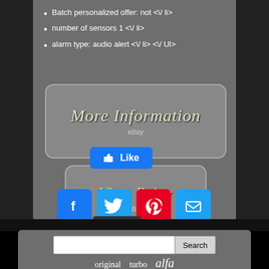Batch personalized offer: not </ li>
number of sensors 1 </ li>
alarm type: audio alert </ li> </ Ul>
[Figure (other): More Information button with eBay branding, rounded rectangle with cursive text]
[Figure (other): View Price button with eBay branding, rounded rectangle with cursive text]
[Figure (other): Facebook Like button in blue]
[Figure (other): Social sharing icons: Facebook, Twitter, Pinterest, Email]
[Figure (other): Search bar with text input and Search button]
original   turbo   alfa